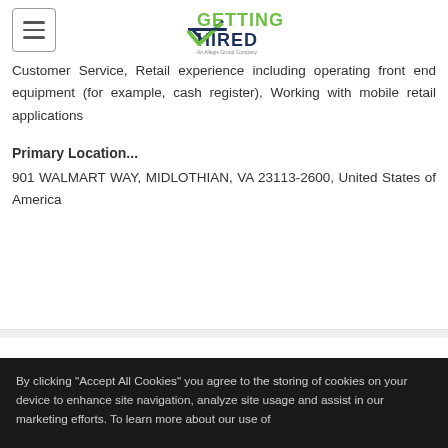Getting Hired - An Allegis Group Company
Customer Service, Retail experience including operating front end equipment (for example, cash register), Working with mobile retail applications
Primary Location...
901 WALMART WAY, MIDLOTHIAN, VA 23113-2600, United States of America
Share
By clicking “Accept All Cookies” you agree to the storing of cookies on your device to enhance site navigation, analyze site usage and assist in our marketing efforts. To learn more about our use of